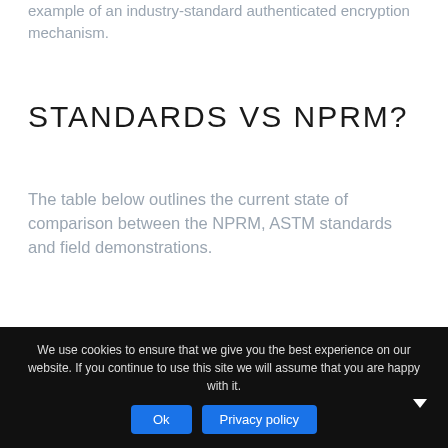example of an industry-standard authenticated encryption mechanism.
STANDARDS VS NPRM?
The table below outlines the current state of comparison between the NPRM, ASTM standards and field demonstrations.
| Capability | NPRM | ASTM Standards | Demonstrated |
| --- | --- | --- | --- |
| Broadcast Capability | ✓ | ✓ | ✓ |
| Network Capability | ✓ | ✓ | ✓ |
| Controller Location | ✓ | ✗ | ✗ |
| Hobbyist Support | ✓ | ✓ | ✓ |
We use cookies to ensure that we give you the best experience on our website. If you continue to use this site we will assume that you are happy with it.